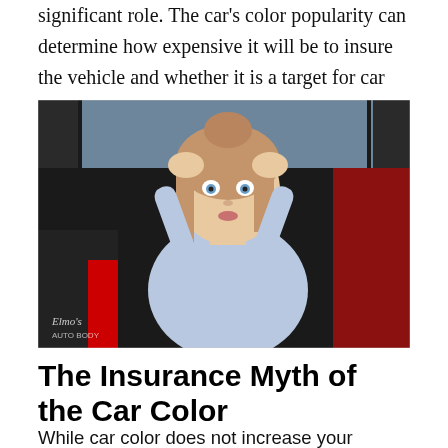significant role. The car's color popularity can determine how expensive it will be to insure the vehicle and whether it is a target for car thieves.
[Figure (photo): A stressed young woman with long blonde hair sitting in a red car, holding her head with both hands, looking distressed. The photo has a watermark reading 'Elmo's Auto Body' in the lower left corner.]
The Insurance Myth of the Car Color
While car color does not increase your insurance cost, some cars are more expensive than others to insure